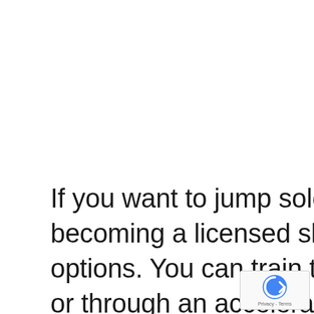If you want to jump solo and work towards becoming a licensed skydiver, you've got two options. You can train through a static line course, or through an accelerated free fall (AFF) course. I personally earned my licence through a static line course, so I figured I'd share my experience with any would-be skydiving students! … Read more